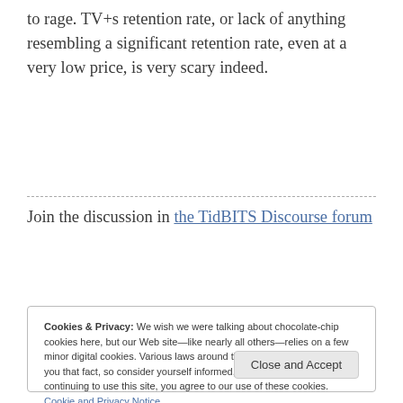to rage. TV+s retention rate, or lack of anything resembling a significant retention rate, even at a very low price, is very scary indeed.
Join the discussion in the TidBITS Discourse forum
Cookies & Privacy: We wish we were talking about chocolate-chip cookies here, but our Web site—like nearly all others—relies on a few minor digital cookies. Various laws around the world require us to tell you that fact, so consider yourself informed, if not nourished. By continuing to use this site, you agree to our use of these cookies. Cookie and Privacy Notice